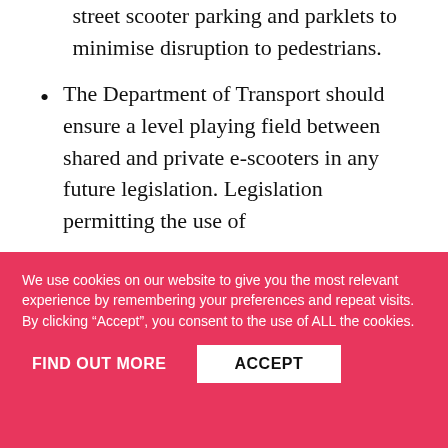street scooter parking and parklets to minimise disruption to pedestrians.
The Department of Transport should ensure a level playing field between shared and private e-scooters in any future legislation. Legislation permitting the use of
We use cookies on our website to give you the most relevant experience by remembering your preferences and repeat visits. By clicking “Accept”, you consent to the use of ALL the cookies.
FIND OUT MORE
ACCEPT